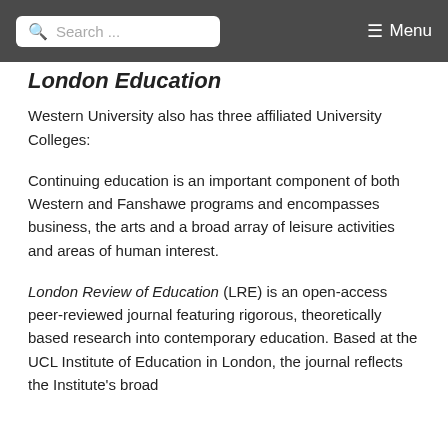Search ... Menu
London Education
Western University also has three affiliated University Colleges:
Continuing education is an important component of both Western and Fanshawe programs and encompasses business, the arts and a broad array of leisure activities and areas of human interest.
London Review of Education (LRE) is an open-access peer-reviewed journal featuring rigorous, theoretically based research into contemporary education. Based at the UCL Institute of Education in London, the journal reflects the Institute's broad